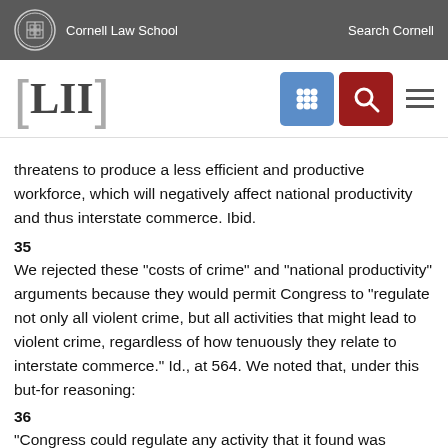Cornell Law School | Search Cornell
[Figure (logo): LII Legal Information Institute logo with navigation icons]
threatens to produce a less efficient and productive workforce, which will negatively affect national productivity and thus interstate commerce. Ibid.
35
We rejected these "costs of crime" and "national productivity" arguments because they would permit Congress to "regulate not only all violent crime, but all activities that might lead to violent crime, regardless of how tenuously they relate to interstate commerce." Id., at 564. We noted that, under this but-for reasoning:
36
"Congress could regulate any activity that it found was related to the economic productivity of